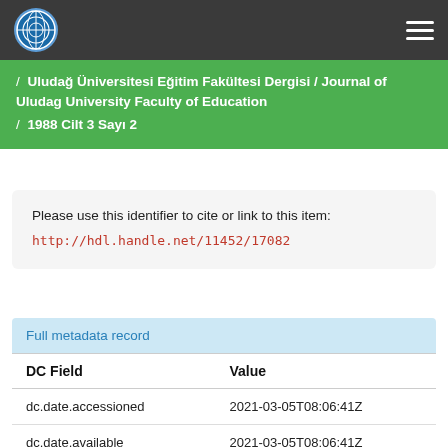Uludağ Üniversitesi Eğitim Fakültesi Dergisi / Journal of Uludag University Faculty of Education / 1988 Cilt 3 Sayı 2
Please use this identifier to cite or link to this item: http://hdl.handle.net/11452/17082
Full metadata record
| DC Field | Value |
| --- | --- |
| dc.date.accessioned | 2021-03-05T08:06:41Z |
| dc.date.available | 2021-03-05T08:06:41Z |
| dc.date.issued | 1988 |